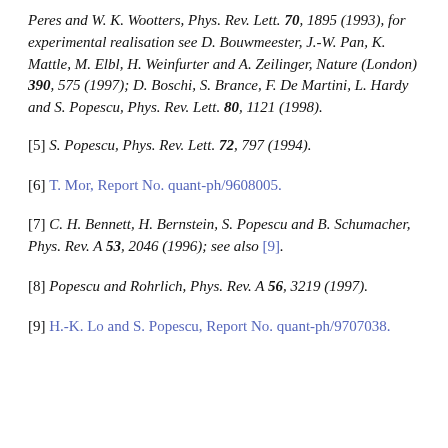Peres and W. K. Wootters, Phys. Rev. Lett. 70, 1895 (1993), for experimental realisation see D. Bouwmeester, J.-W. Pan, K. Mattle, M. Elbl, H. Weinfurter and A. Zeilinger, Nature (London) 390, 575 (1997); D. Boschi, S. Brance, F. De Martini, L. Hardy and S. Popescu, Phys. Rev. Lett. 80, 1121 (1998).
[5] S. Popescu, Phys. Rev. Lett. 72, 797 (1994).
[6] T. Mor, Report No. quant-ph/9608005.
[7] C. H. Bennett, H. Bernstein, S. Popescu and B. Schumacher, Phys. Rev. A 53, 2046 (1996); see also [9].
[8] Popescu and Rohrlich, Phys. Rev. A 56, 3219 (1997).
[9] H.-K. Lo and S. Popescu, Report No. quant-ph/9707038.